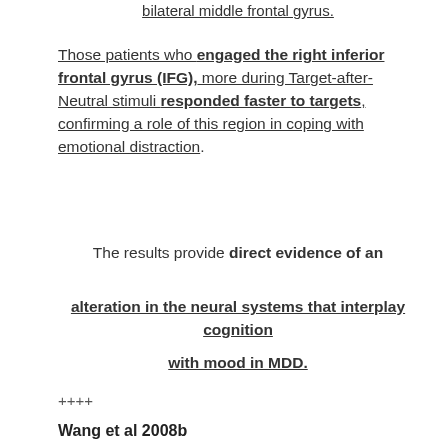bilateral middle frontal gyrus.
Those patients who engaged the right inferior frontal gyrus (IFG), more during Target-after-Neutral stimuli responded faster to targets, confirming a role of this region in coping with emotional distraction.
The results provide direct evidence of an alteration in the neural systems that interplay cognition with mood in MDD.
++++
Wang et al 2008b